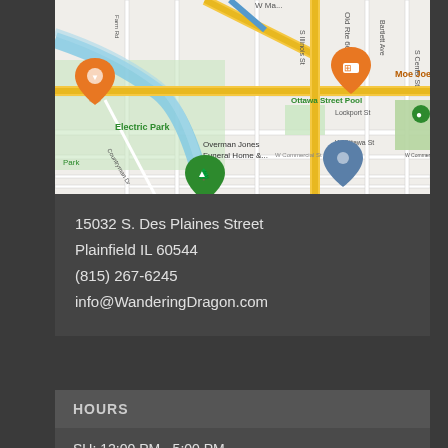[Figure (map): Google Maps screenshot showing area around 15032 S. Des Plaines Street, Plainfield IL. Shows Electric Park, Ottawa Street Pool, Moe Joe's restaurant, Overman Jones Funeral Home, W Ottawa St, Lockport St, W Commercial St, and various roads including route 66.]
15032 S. Des Plaines Street
Plainfield IL 60544
(815) 267-6245
info@WanderingDragon.com
HOURS
SU: 12:00 PM - 5:00 PM
MO-TH: 12:00 PM - 7:00 PM